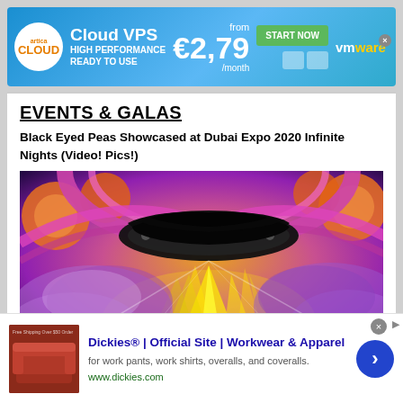[Figure (screenshot): Cloud VPS advertisement banner with blue gradient background. Shows 'Cloud VPS HIGH PERFORMANCE READY TO USE' text, price 'from €2,79 /month', 'START NOW' green button, and vmware logo.]
EVENTS & GALAS
Black Eyed Peas Showcased at Dubai Expo 2020 Infinite Nights (Video! Pics!)
[Figure (photo): Concert photo from Dubai Expo 2020 Infinite Nights showing colorful stage lighting with yellow, purple, and pink lights. A large dark circular structure is visible at the top center, with bright yellow spotlight beams emanating from below. Purple smoke fills the stage area.]
[Figure (screenshot): Dickies advertisement at bottom. Shows 'Dickies® | Official Site | Workwear & Apparel' with subtitle 'for work pants, work shirts, overalls, and coveralls.' URL: www.dickies.com. Blue arrow button on right side.]